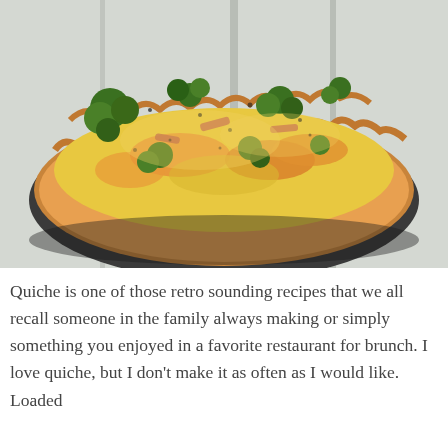[Figure (photo): Close-up photo of a baked quiche with broccoli, cheese, and ham in a fluted pie crust set in a metal tin, placed on a whitewashed wooden surface.]
Quiche is one of those retro sounding recipes that we all recall someone in the family always making or simply something you enjoyed in a favorite restaurant for brunch. I love quiche, but I don't make it as often as I would like. Loaded